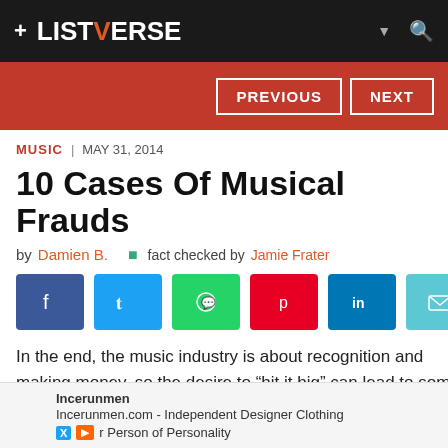+ LISTVERSE
PREVIOUS  NEXT
MUSIC | MAY 31, 2014
10 Cases Of Musical Frauds
by Damien B.   fact checked by Jamie Frater
[Figure (other): Social share buttons: Facebook, Twitter, WhatsApp, Pinterest, LinkedIn, Email]
In the end, the music industry is about recognition and making money, so the desire to “hit it big” can lead to some unsavory practices. The history of music is rife with chart-topping hits created by people who turned out to be less th
Incerunmen
Incerunmen.com - Independent Designer Clothing
r Person of Personality